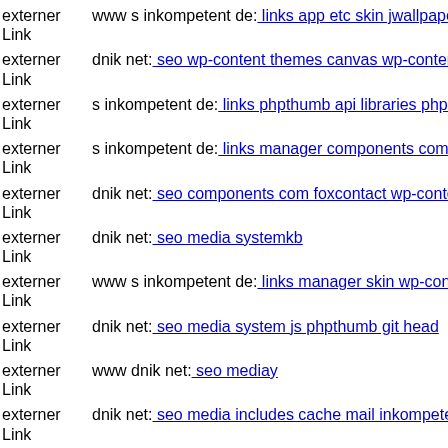externer Link  www s inkompetent de: links app etc skin jwallpapers files
externer Link  dnik net: seo wp-content themes canvas wp-content themes
externer Link  s inkompetent de: links phpthumb api libraries phpthumb d
externer Link  s inkompetent de: links manager components com foxconta
externer Link  dnik net: seo components com foxcontact wp-content theme
externer Link  dnik net: seo media systemkb
externer Link  www s inkompetent de: links manager skin wp-content plug
externer Link  dnik net: seo media system js phpthumb git head
externer Link  www dnik net: seo mediay
externer Link  dnik net: seo media includes cache mail inkompetent de
externer Link  dnik net: seo js webforms upload wp-content themes theme